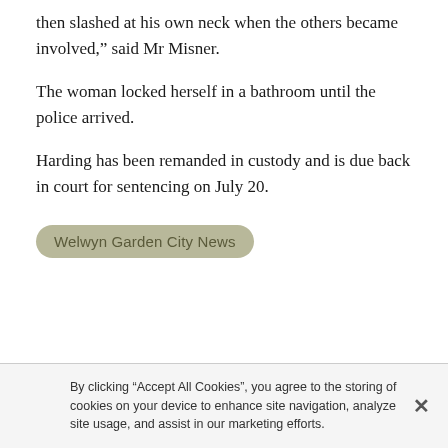then slashed at his own neck when the others became involved,” said Mr Misner.
The woman locked herself in a bathroom until the police arrived.
Harding has been remanded in custody and is due back in court for sentencing on July 20.
Welwyn Garden City News
By clicking “Accept All Cookies”, you agree to the storing of cookies on your device to enhance site navigation, analyze site usage, and assist in our marketing efforts.